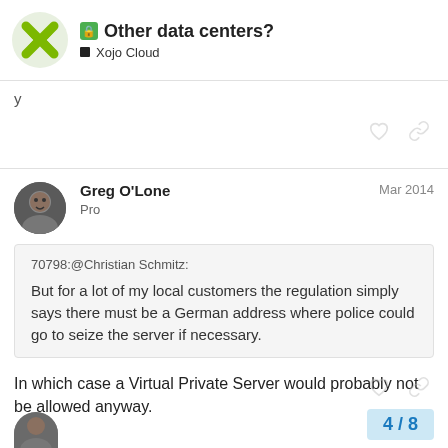Other data centers? — Xojo Cloud
Greg O'Lone
Pro
Mar 2014
70798:@Christian Schmitz:
But for a lot of my local customers the regulation simply says there must be a German address where police could go to seize the server if necessary.
In which case a Virtual Private Server would probably not be allowed anyway.
4 / 8